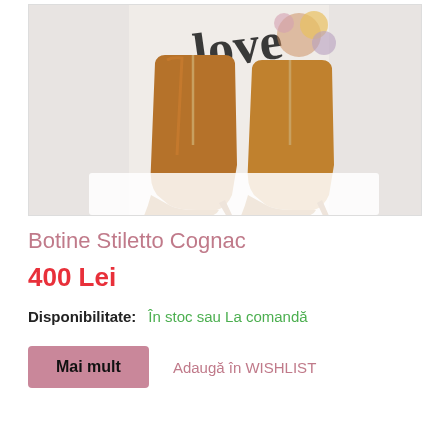[Figure (photo): Brown cognac leather stiletto ankle boots with zipper, displayed against a floral background with 'love' text]
Botine Stiletto Cognac
400 Lei
Disponibilitate: În stoc sau La comandă
Mai mult
Adaugă în WISHLIST